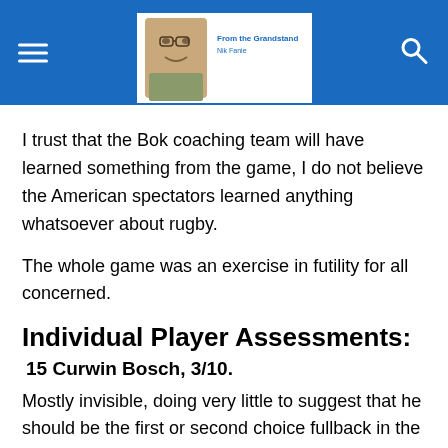I trust that the Bok coaching team will have learned something from the game, I do not believe the American spectators learned anything whatsoever about rugby.
The whole game was an exercise in futility for all concerned.
Individual Player Assessments:
15 Curwin Bosch, 3/10.
Mostly invisible, doing very little to suggest that he should be the first or second choice fullback in the upcoming series against England, or even in the overall squad. His kicking was inaccurate to start with, although he seemed to find his range later in the game. Defensively he was caught out of